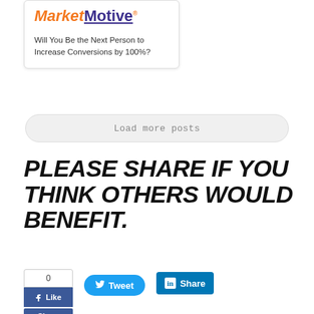[Figure (logo): MarketMotive logo with orange italic 'Market' and purple bold underlined 'Motive']
Will You Be the Next Person to Increase Conversions by 100%?
Load more posts
Please share if you think others would benefit.
[Figure (other): Social sharing buttons: Facebook Like/Share widget with count 0, Tweet button, LinkedIn Share button]